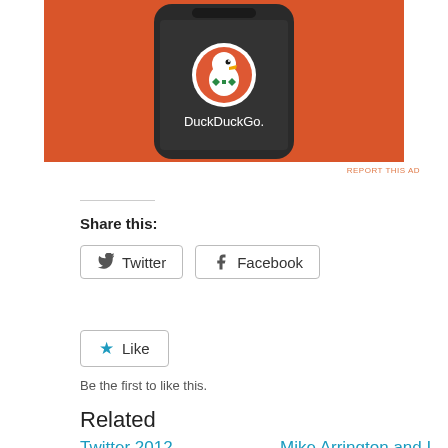[Figure (photo): DuckDuckGo mobile app on a smartphone with orange background]
REPORT THIS AD
Share this:
Twitter
Facebook
Like
Be the first to like this.
Related
Twitter 2012
Mike Arrington and I disagree on the